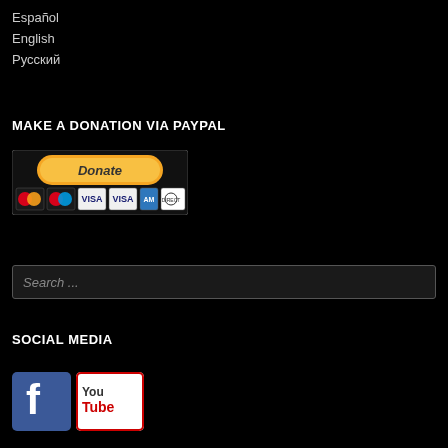Español
English
Русский
MAKE A DONATION VIA PAYPAL
[Figure (other): PayPal Donate button with credit card logos including MasterCard, Maestro, VISA, Visa Electron, American Express, and Direct Debit]
[Figure (other): Search box with placeholder text 'Search ...']
SOCIAL MEDIA
[Figure (other): Facebook and YouTube social media icon buttons]